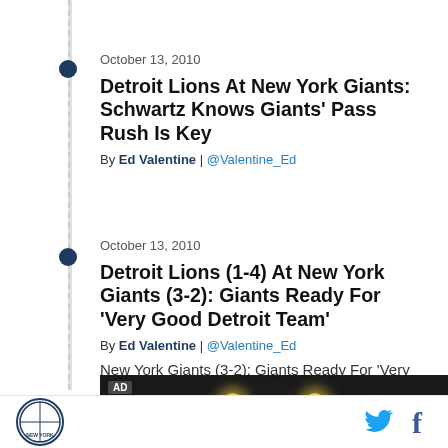October 13, 2010
Detroit Lions At New York Giants: Schwartz Knows Giants' Pass Rush Is Key
By Ed Valentine | @Valentine_Ed
October 13, 2010
Detroit Lions (1-4) At New York Giants (3-2): Giants Ready For 'Very Good Detroit Team'
By Ed Valentine | @Valentine_Ed
New York Giants (3-2): Giants Ready For 'Very Good Detroit Tea
[Figure (photo): Advertisement banner with spotlights and person wearing hat, dark background]
Big Blue View logo, Twitter icon, Facebook icon